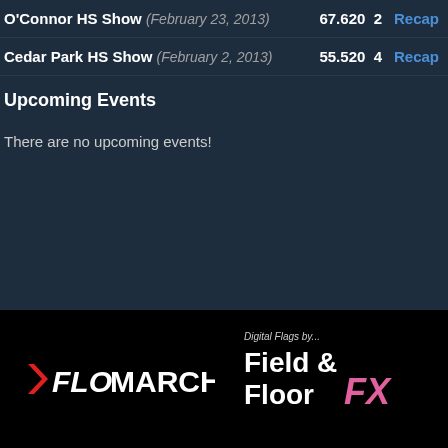O'Connor HS Show (February 23, 2013) 67.620 2 Recap
Cedar Park HS Show (February 2, 2013) 55.520 4 Recap
Upcoming Events
There are no upcoming events!
[Figure (logo): FloMarching logo with red arrow and white text on black background]
[Figure (logo): Field & Floor FX logo with 'Digital Flags by...' tagline on black background]